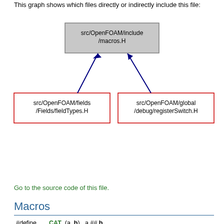This graph shows which files directly or indirectly include this file:
[Figure (network-graph): Dependency graph showing src/OpenFOAM/include/macros.H at top (gray box), with two child nodes: src/OpenFOAM/fields/Fields/fieldTypes.H (red border, left) and src/OpenFOAM/global/debug/registerSwitch.H (red border, right), both connected with blue arrows pointing up to macros.H]
Go to the source code of this file.
Macros
|  |  |
| --- | --- |
| #define | CAT_(a, b)   a ## b
Concatenate two preprocessor tokens. More... |
| #define | CAT(a, b)   CAT_(a, b) |
| #define | CAT3_(a, b, c)   a ## b ## c
Concatenate three preprocessor tokens. More... |
| #define | CAT3(a, b, c)   CAT3_(a, b, c) |
| #define | CAT4_(a, b, c, d)   a ## b ## c ## d
Concatenate four preprocessor tokens. More... |